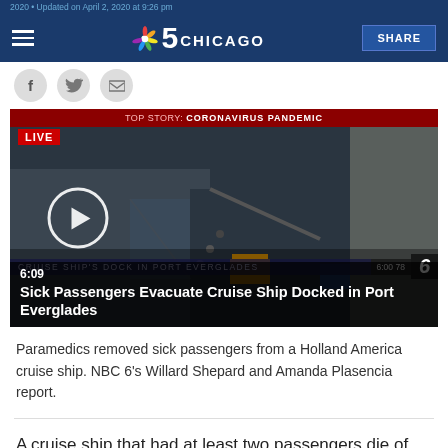2020 • Updated on April 2, 2020 at 9:26 pm
[Figure (screenshot): NBC 5 Chicago website header with hamburger menu, NBC peacock logo, '5 CHICAGO' text, and SHARE button on dark blue background]
[Figure (screenshot): Video thumbnail showing LIVE aerial footage of dock at Port Everglades, top story bar reading 'TOP STORY: CORONAVIRUS PANDEMIC', play button overlay, lower third with 'CRUISE SHIP'S DOCK IN PORT EVERGLADES', timestamp 6:00, channel 6 logo. Video title overlay: '6:09 Sick Passengers Evacuate Cruise Ship Docked in Port Everglades']
Paramedics removed sick passengers from a Holland America cruise ship. NBC 6's Willard Shepard and Amanda Plasencia report.
A cruise ship that had at least two passengers die of